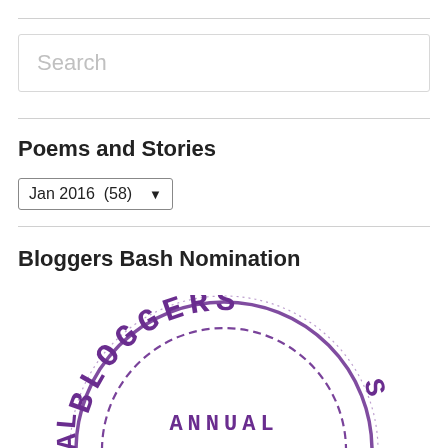[Figure (other): Search input box with placeholder text 'Search']
Poems and Stories
[Figure (other): Dropdown selector showing 'Jan 2016  (58)']
Bloggers Bash Nomination
[Figure (illustration): Purple circular stamp/badge with text 'BLOGGERS ANNUAL BLOGGERS' arranged in an arc, with dashed inner circle border]